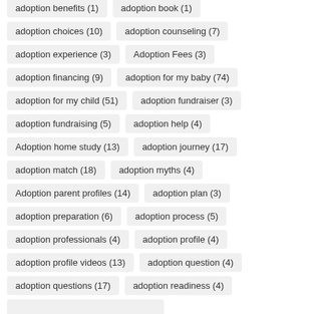adoption benefits (1)
adoption book (1)
adoption choices (10)
adoption counseling (7)
adoption experience (3)
Adoption Fees (3)
adoption financing (9)
adoption for my baby (74)
adoption for my child (51)
adoption fundraiser (3)
adoption fundraising (5)
adoption help (4)
Adoption home study (13)
adoption journey (17)
adoption match (18)
adoption myths (4)
Adoption parent profiles (14)
adoption plan (3)
adoption preparation (6)
adoption process (5)
adoption professionals (4)
adoption profile (4)
adoption profile videos (13)
adoption question (4)
adoption questions (17)
adoption readiness (4)